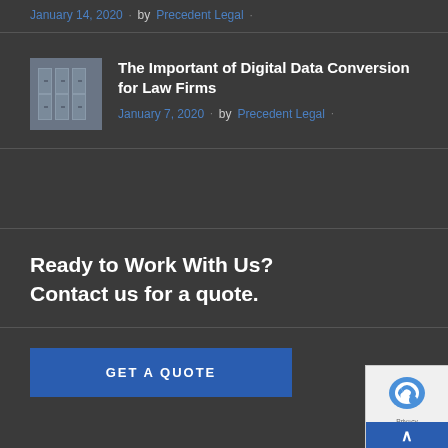January 14, 2020 · by Precedent Legal ·
[Figure (photo): Thumbnail image of filing cabinets/legal document storage]
The Important of Digital Data Conversion for Law Firms
January 7, 2020 · by Precedent Legal ·
Ready to Work With Us? Contact us for a quote.
GET A QUOTE